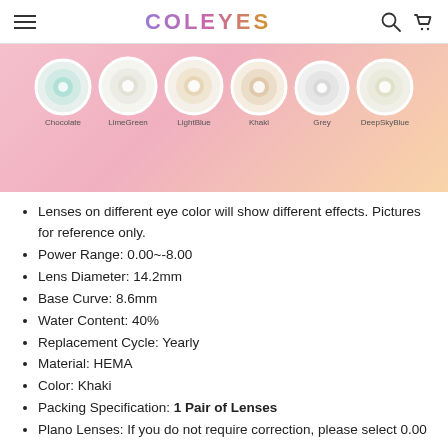COLEYES
[Figure (photo): Banner showing six colored contact lenses: Chocolate, LimeGreen, LightBlue, Khaki, Grey, DeepSkyBlue on a pink gradient background]
Lenses on different eye color will show different effects. Pictures for reference only.
Power Range: 0.00~-8.00
Lens Diameter: 14.2mm
Base Curve: 8.6mm
Water Content: 40%
Replacement Cycle: Yearly
Material: HEMA
Color: Khaki
Packing Specification: 1 Pair of Lenses
Plano Lenses: If you do not require correction, please select 0.00 power.
Different correction for each eye: If you require a different